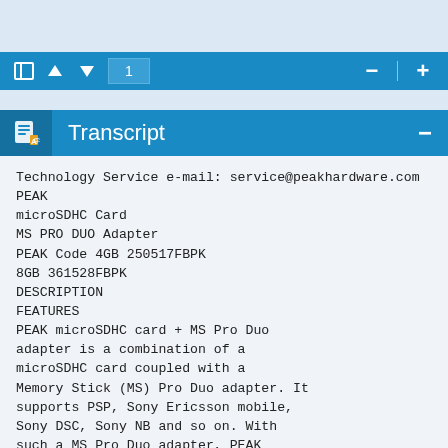[Figure (screenshot): Blue toolbar with navigation icons: panel toggle, up arrow, down arrow, page number input showing '1', minus button, plus button]
Transcript
Technology Service e-mail: service@peakhardware.com
PEAK
microSDHC Card
MS PRO DUO Adapter
PEAK Code 4GB 250517FBPK
8GB 361528FBPK
DESCRIPTION
FEATURES
PEAK microSDHC card + MS Pro Duo
adapter is a combination of a
microSDHC card coupled with a
Memory Stick (MS) Pro Duo adapter. It
supports PSP, Sony Ericsson mobile,
Sony DSC, Sony NB and so on. With
such a MS Pro Duo adapter, PEAK
microSDHC card does not only work in
microSDHC card slot, but also function
as a MS Pro Duo card. The set is
compatible with Memory Stick PRO
specification version 1.4 and SD
specification version 2.0